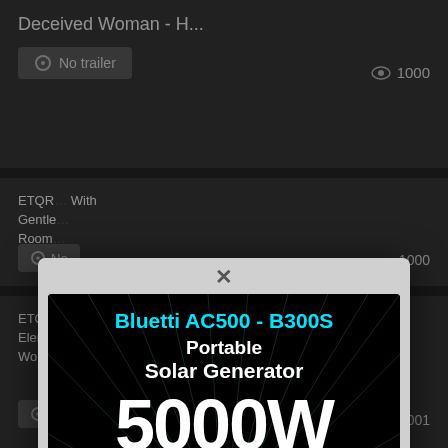Deceived Woman - H...
No trailer  👁 1000
ETQR... With Gentle Room...
No  1000
[Figure (screenshot): Advertisement popup for Bluetti AC500 - B300S Portable Solar Generator 5000W with Early Bird 32% OFF and Save Now button]
ETQR... - Elements... -ried Woman
No  1001